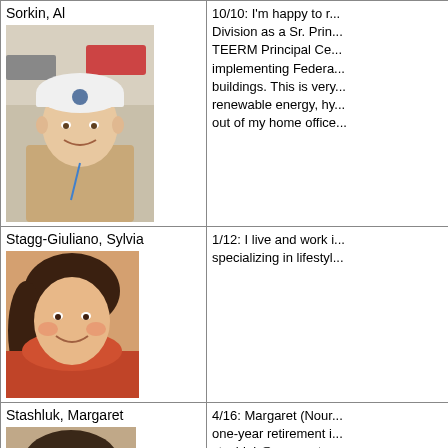| Name / Photo | Update |
| --- | --- |
| Sorkin, Al [photo] | 10/10: I'm happy to r... Division as a Sr. Prin... TEERM Principal Ce... implementing Federa... buildings. This is very... renewable energy, hy... out of my home office... |
| Stagg-Giuliano, Sylvia [photo] | 1/12: I live and work i... specializing in lifestyl... |
| Stashluk, Margaret [photo] | 4/16: Margaret (Nour... one-year retirement i... stashluk@comcast.n...

07/09: Margaret Stas... - still do but with Inte... |
| Stahli, Richard | 3/12: After "retiring" f... I joined Insperity, whe... Richard.Stahli@insperity.co... |
| Stama, Frank [photo] | 3/14: Frank Stama is... |